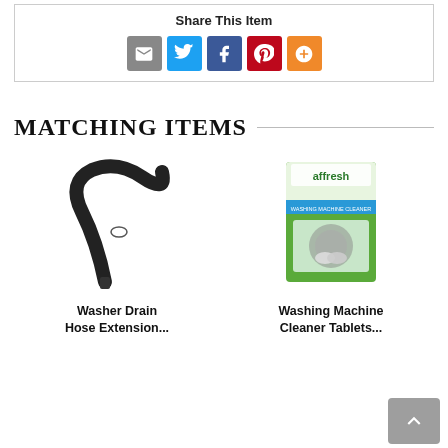Share This Item
[Figure (infographic): Social share icons: email (grey), Twitter (blue), Facebook (dark blue), Pinterest (red), More (orange/yellow)]
MATCHING ITEMS
[Figure (photo): Washer Drain Hose Extension - black flexible curved hose against white background]
Washer Drain Hose Extension...
[Figure (photo): Affresh Washing Machine Cleaner Tablets - green product box with washer drum image]
Washing Machine Cleaner Tablets...